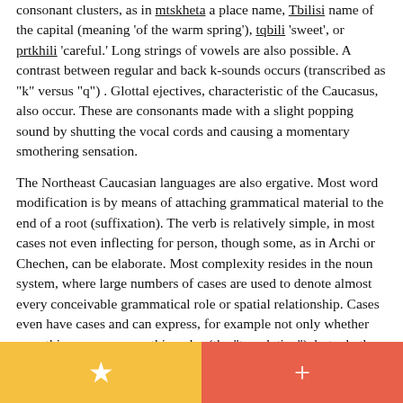consonant clusters, as in mtskheta a place name, Tbilisi name of the capital (meaning 'of the warm spring'), tqbili 'sweet', or prtkhili 'careful.' Long strings of vowels are also possible. A contrast between regular and back k-sounds occurs (transcribed as "k" versus "q") . Glottal ejectives, characteristic of the Caucasus, also occur. These are consonants made with a slight popping sound by shutting the vocal cords and causing a momentary smothering sensation.
The Northeast Caucasian languages are also ergative. Most word modification is by means of attaching grammatical material to the end of a root (suffixation). The verb is relatively simple, in most cases not even inflecting for person, though some, as in Archi or Chechen, can be elaborate. Most complexity resides in the noun system, where large numbers of cases are used to denote almost every conceivable grammatical role or spatial relationship. Cases even have cases and can express, for example not only whether something crosses something else (the "translative"), but whether the crossing took place horizontally, or from above to below, or from below to above. Some languages, such as Lak and Tabasaran have nearly fifty cases, the largest such systems known anywhere. These systems are suited for the geometric complexity of their mountainous environment. The nouns further belong to class